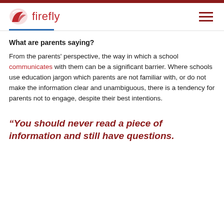firefly
What are parents saying?
From the parents' perspective, the way in which a school communicates with them can be a significant barrier. Where schools use education jargon which parents are not familiar with, or do not make the information clear and unambiguous, there is a tendency for parents not to engage, despite their best intentions.
“You should never read a piece of information and still have questions.